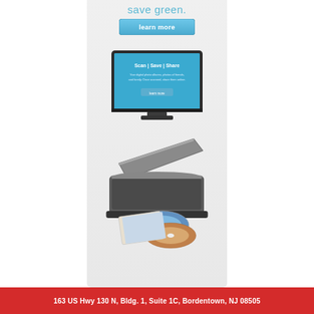save green.
[Figure (illustration): Blue 'learn more' button with rounded corners]
[Figure (illustration): Computer monitor displaying a website with 'Scan | Save | Share' text on a blue screen]
[Figure (illustration): Flatbed scanner with lid open, with CDs and printed photos emerging from the front]
163 US Hwy 130 N, Bldg. 1, Suite 1C, Bordentown, NJ 08505